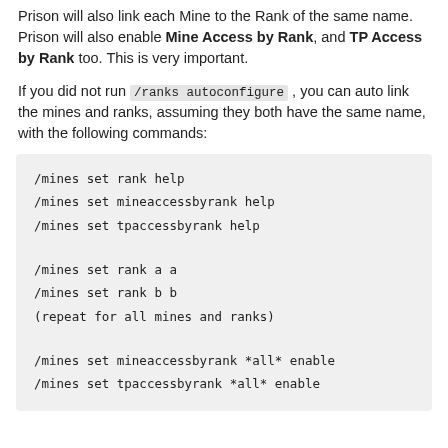Prison will also link each Mine to the Rank of the same name. Prison will also enable Mine Access by Rank, and TP Access by Rank too. This is very important.
If you did not run /ranks autoconfigure , you can auto link the mines and ranks, assuming they both have the same name, with the following commands:
/mines set rank help
/mines set mineaccessbyrank help
/mines set tpaccessbyrank help

/mines set rank a a
/mines set rank b b
(repeat for all mines and ranks)

/mines set mineaccessbyrank *all* enable
/mines set tpaccessbyrank *all* enable